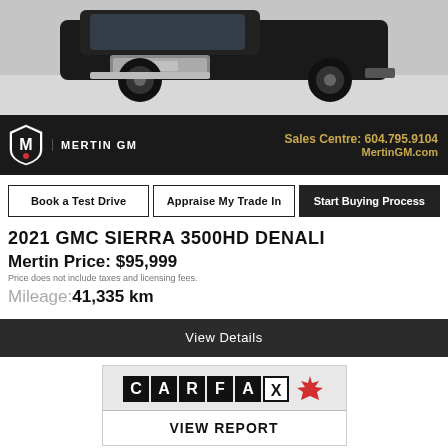[Figure (photo): Front view of a black GMC Sierra 3500HD Denali truck, showing the front grille and wheel]
[Figure (logo): Mertin GM dealership banner with logo, phone number 604.795.9104 and website MertinGM.com on black background]
Book a Test Drive | Appraise My Trade In | Start Buying Process
2021 GMC SIERRA 3500HD DENALI
Mertin Price: $95,999
Price does not include taxes and licensing fees.
Mileage: 41,335 km
View Details
[Figure (logo): CARFAX Canada logo with VIEW REPORT button]